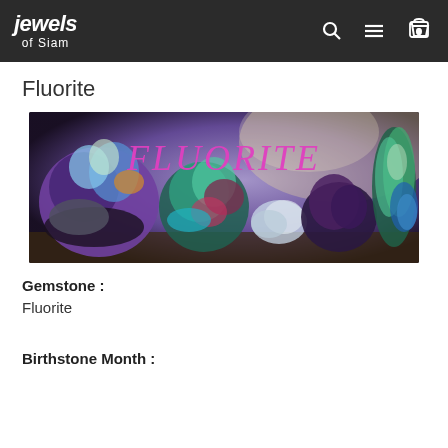jewels of Siam
Fluorite
[Figure (photo): Banner image showing multiple colorful fluorite mineral specimens arranged against a purple/dark background with the word FLUORITE displayed in pink serif text]
Gemstone :
Fluorite
Birthstone Month :